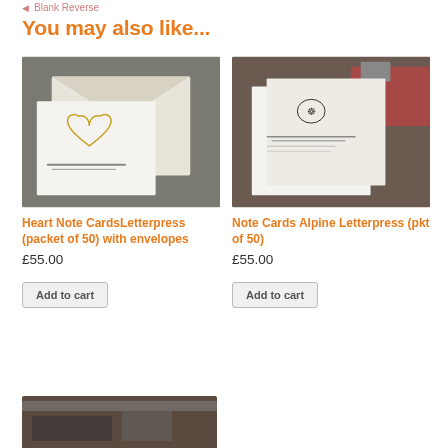Blank Reverse
You may also like...
[Figure (photo): Photo of Heart Note Cards with envelope, showing a white card with a gold foil heart design and an address printed below]
Heart Note CardsLetterpress (packet of 50) with envelopes
£55.00
Add to cart
[Figure (photo): Photo of Note Cards Alpine Letterpress, showing white notecards with an illustrated alpine scene at top and address text below]
Note Cards Alpine Letterpress (pkt of 50)
£55.00
Add to cart
[Figure (photo): Partial photo at bottom of page showing another product]